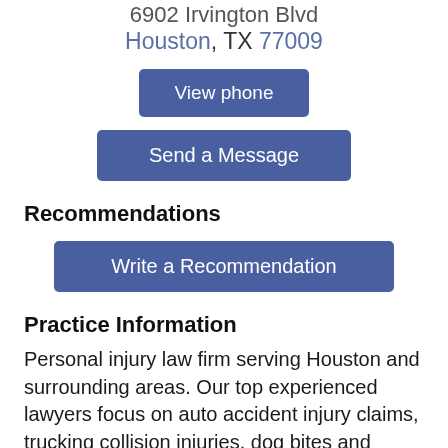6902 Irvington Blvd Houston, TX 77009
View phone
Send a Message
Recommendations
Write a Recommendation
Practice Information
Personal injury law firm serving Houston and surrounding areas. Our top experienced lawyers focus on auto accident injury claims, trucking collision injuries, dog bites and animal attacks and other negligent claims.
Attorney Jerome O. Fjeld has been serving personal injury clients in Houston and surrounding areas for almost 20